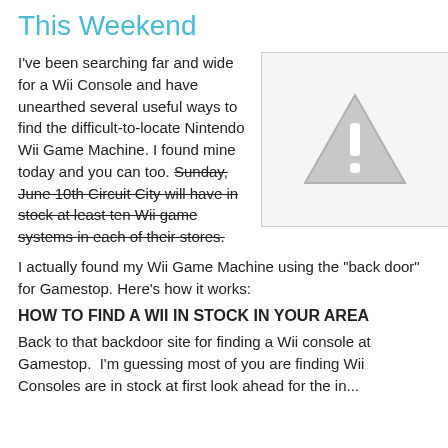This Weekend
I've been searching far and wide for a Wii Console and have unearthed several useful ways to find the difficult-to-locate Nintendo Wii Game Machine. I found mine today and you can too. Sunday, June 10th Circuit City will have in stock at least ten Wii game systems in each of their stores.
[Figure (illustration): A grey warning/caution triangle icon with an exclamation mark, displayed inside a light grey bordered box.]
I actually found my Wii Game Machine using the "back door" for Gamestop. Here's how it works:
HOW TO FIND A WII IN STOCK IN YOUR AREA
Back to that backdoor site for finding a Wii console at Gamestop.  I'm guessing most of you are finding Wii Consoles are in stock at first look ahead for the in...